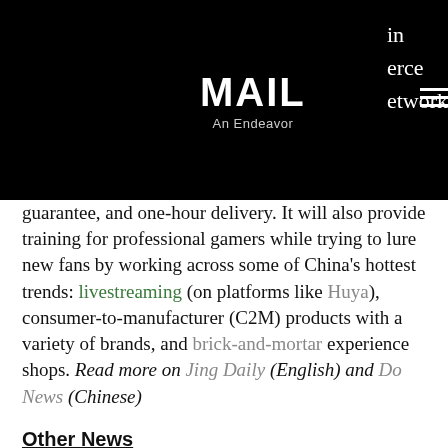MAIL
An Endeavor
network guarantee, and one-hour delivery. It will also provide training for professional gamers while trying to lure new fans by working across some of China's hottest trends: livestreaming (on platforms like Huya), consumer-to-manufacturer (C2M) products with a variety of brands, and brick-and-mortar experience shops. Read more on Jing Daily (English) and Do News (Chinese)
Other News
Bilibili and Marvel Team-Up for End of Year Gala
Marvel Studios announced it is having a